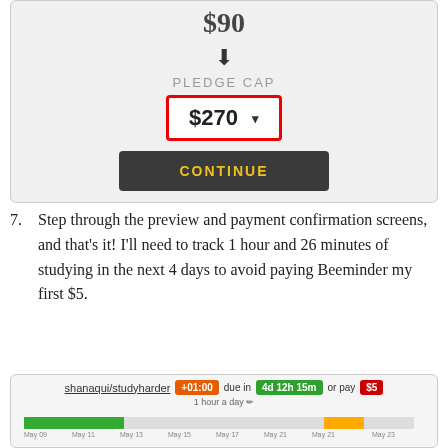[Figure (screenshot): UI screenshot showing a pledge cap interface with $90 at top, down arrow, PLEDGE CAP label, a red-bordered dropdown showing $270, and a dark Continue button]
7. Step through the preview and payment confirmation screens, and that's it! I'll need to track 1 hour and 26 minutes of studying in the next 4 days to avoid paying Beeminder my first $5.
[Figure (screenshot): Beeminder goal screenshot showing shanaqui/studyharder with +01:00 badge, due in 4d 12h 15m, or pay $5, with a chart showing dates from May 09 to May 23]